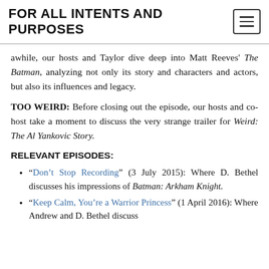FOR ALL INTENTS AND PURPOSES
awhile, our hosts and Taylor dive deep into Matt Reeves' The Batman, analyzing not only its story and characters and actors, but also its influences and legacy.
TOO WEIRD: Before closing out the episode, our hosts and co-host take a moment to discuss the very strange trailer for Weird: The Al Yankovic Story.
RELEVANT EPISODES:
“Don’t Stop Recording” (3 July 2015): Where D. Bethel discusses his impressions of Batman: Arkham Knight.
“Keep Calm, You’re a Warrior Princess” (1 April 2016): Where Andrew and D. Bethel discuss